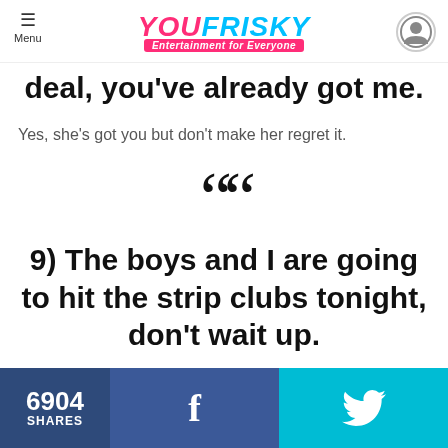YOU FRISKY Entertainment for Everyone
deal, you've already got me.
Yes, she's got you but don't make her regret it.
““
9) The boys and I are going to hit the strip clubs tonight, don’t wait up.
I guess you have a divorce lawyer on speed dial and
6904 SHARES